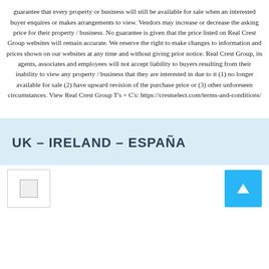guarantee that every property or business will still be available for sale when an interested buyer enquires or makes arrangements to view. Vendors may increase or decrease the asking price for their property / business. No guarantee is given that the price listed on Real Crest Group websites will remain accurate. We reserve the right to make changes to information and prices shown on our websites at any time and without giving prior notice. Real Crest Group, its agents, associates and employees will not accept liability to buyers resulting from their inability to view any property / business that they are interested in due to it (1) no longer available for sale (2) have upward revision of the purchase price or (3) other unforeseen circumstances. View Real Crest Group T's + C's: https://crestselect.com/terms-and-conditions/
UK – IRELAND – ESPAÑA
[Figure (logo): Small logo image in bottom-left footer]
[Figure (other): Blue back-to-top button with upward arrow chevron]